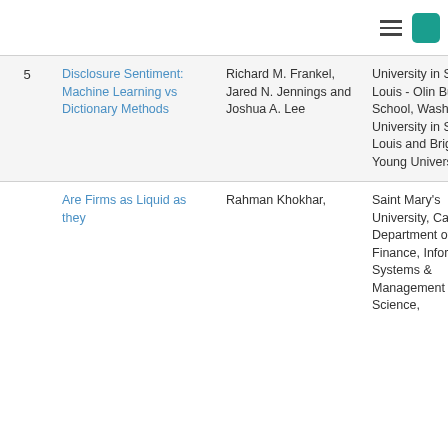| # | Title | Authors | Affiliation | Journal |
| --- | --- | --- | --- | --- |
| 5 | Disclosure Sentiment: Machine Learning vs Dictionary Methods | Richard M. Frankel, Jared N. Jennings and Joshua A. Lee | Washington University in Saint Louis - Olin Business School, Washington University in St. Louis and Brigham Young University | Manag... forthco... |
|  | Are Firms as Liquid as they | Rahman Khokhar, | Saint Mary's University, Canada - Department of Finance, Information Systems & Management Science, |  |